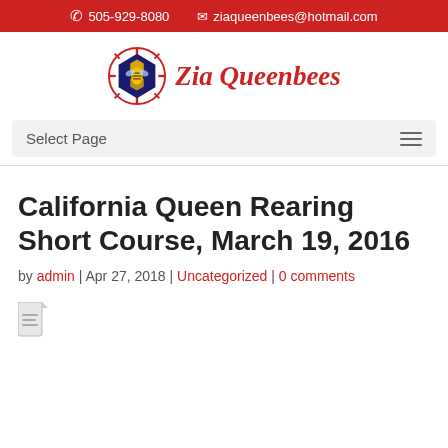505-929-8080  ziaqueenbees@hotmail.com
[Figure (logo): Zia Queenbees logo with decorative hexagonal emblem and red italic text 'Zia Queenbees']
Select Page
California Queen Rearing Short Course, March 19, 2016
by admin | Apr 27, 2018 | Uncategorized | 0 comments
[Figure (other): Document attachment icon with partial text below]